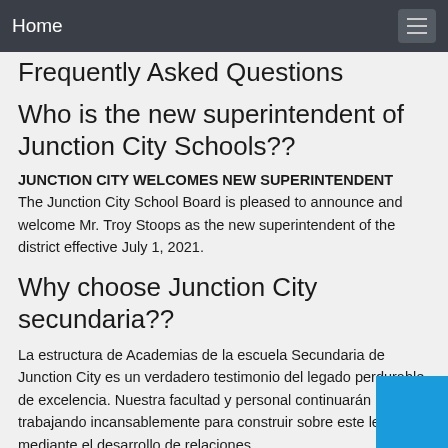Home
Frequently Asked Questions
Who is the new superintendent of Junction City Schools??
JUNCTION CITY WELCOMES NEW SUPERINTENDENT The Junction City School Board is pleased to announce and welcome Mr. Troy Stoops as the new superintendent of the district effective July 1, 2021.
Why choose Junction City secundaria??
La estructura de Academias de la escuela Secundaria de Junction City es un verdadero testimonio del legado perdurable de excelencia. Nuestra facultad y personal continuarán trabajando incansablemente para construir sobre este legado mediante el desarrollo de relaciones